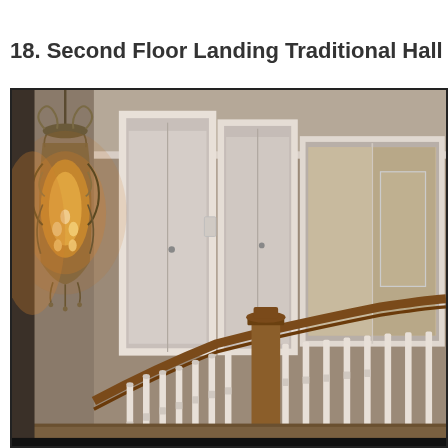18. Second Floor Landing Traditional Hall Chicag
[Figure (photo): Interior photo of a second floor landing in a traditional Chicago-style home. Features a decorative ornate iron chandelier/lantern with warm glowing bulbs on the left, white-painted stair balusters and a dark wood handrail/banister in the foreground, white-trimmed doors along a taupe/brown wall in the background, and a hallway with additional doors visible.]